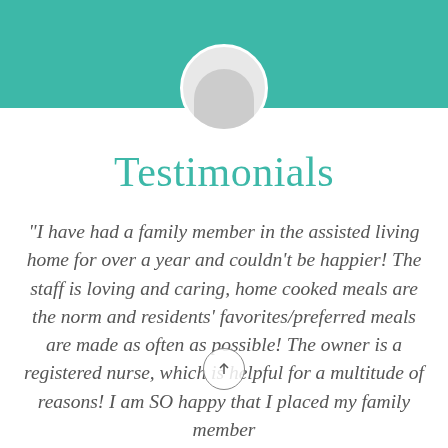[Figure (photo): Teal banner at top with circular profile photo partially visible]
Testimonials
"I have had a family member in the assisted living home for over a year and couldn't be happier! The staff is loving and caring, home cooked meals are the norm and residents' favorites/preferred meals are made as often as possible! The owner is a registered nurse, which is helpful for a multitude of reasons! I am SO happy that I placed my family member